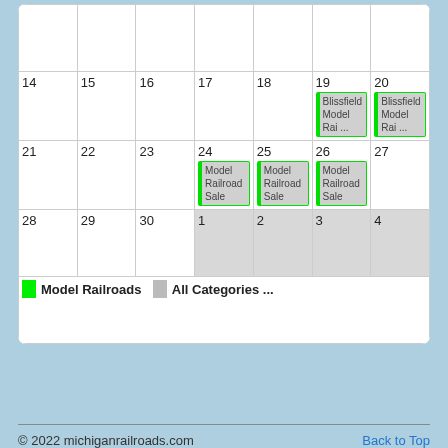|  |  |  |  |  | 19 - Blissfield Model Rai ... | 20 - Blissfield Model Rai ... |
| 21 | 22 | 23 | 24 - Model Railroad Sale | 25 - Model Railroad Sale | 26 - Model Railroad Sale | 27 |
| 28 | 29 | 30 | 1 (grayed) | 2 (grayed) | 3 (grayed) | 4 (grayed) |
Model Railroads   All Categories ...
© 2022 michiganrailroads.com   Back to Top